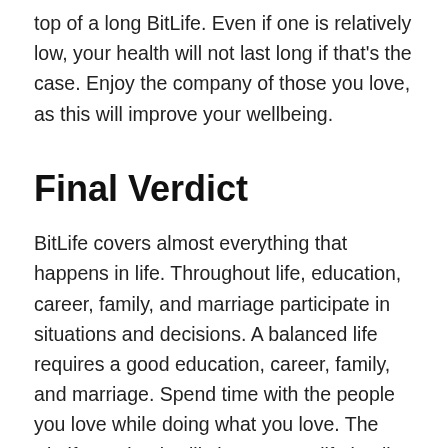top of a long BitLife. Even if one is relatively low, your health will not last long if that's the case. Enjoy the company of those you love, as this will improve your wellbeing.
Final Verdict
BitLife covers almost everything that happens in life. Throughout life, education, career, family, and marriage participate in situations and decisions. A balanced life requires a good education, career, family, and marriage. Spend time with the people you love while doing what you love. The BitLife mod Apk will change your life in all the little ways. Moreover, if you face any issues downloading this game, let us know via the comment section. We